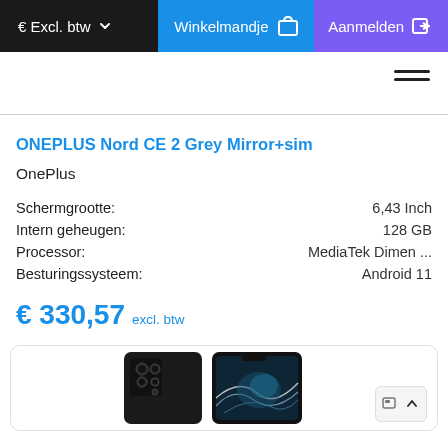€ Excl. btw  Winkelmandje  Aanmelden
[Figure (screenshot): Hamburger menu icon (three horizontal lines)]
ONEPLUS Nord CE 2 Grey Mirror+sim
OnePlus
| Schermgrootte: | 6,43 Inch |
| Intern geheugen: | 128 GB |
| Processor: | MediaTek Dimen ... |
| Besturingssysteem: | Android 11 |
€ 330,57 excl. btw
[Figure (photo): Samsung Galaxy S22 Ultra smartphone shown from front and back in black color inside a rounded-corner card]